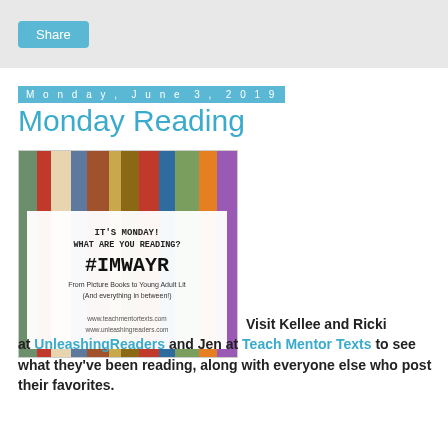Share
Monday, June 3, 2019
Monday Reading
[Figure (photo): Blog image with books in the background and overlay text reading: IT'S MONDAY! WHAT ARE YOU READING? #IMWAYR From Picture Books to Young Adult Lit (And everything in between!) www.teachmentortexts.com www.unleashingreaders.com]
Visit Kellee and Ricki at UnleashingReaders and Jen at Teach Mentor Texts to see what they've been reading, along with everyone else who post their favorites.